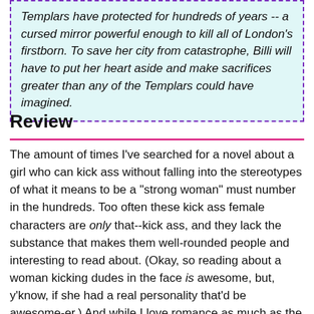Templars have protected for hundreds of years -- a cursed mirror powerful enough to kill all of London's firstborn. To save her city from catastrophe, Billi will have to put her heart aside and make sacrifices greater than any of the Templars could have imagined.
Review
The amount of times I've searched for a novel about a girl who can kick ass without falling into the stereotypes of what it means to be a "strong woman" must number in the hundreds. Too often these kick ass female characters are only that--kick ass, and they lack the substance that makes them well-rounded people and interesting to read about. (Okay, so reading about a woman kicking dudes in the face is awesome, but, y'know, if she had a real personality that'd be awesome-er.) And while I love romance as much as the next gal, I hate when it becomes the all consuming thought of these women
I was nicely surprised when I found that Devil's Kiss gave me